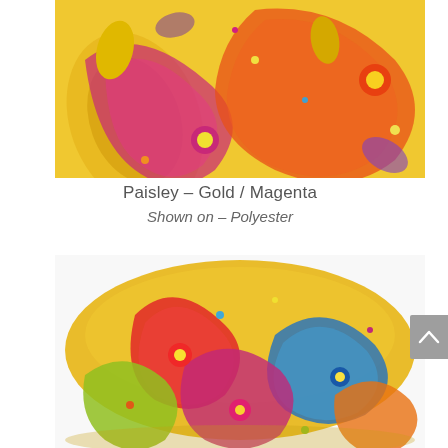[Figure (photo): Close-up of a colorful paisley fabric pattern with gold, magenta, red, orange, purple, and green colors on yellow background]
Paisley – Gold / Magenta
Shown on – Polyester
[Figure (photo): A round table draped with a vibrantly colored paisley tablecloth in yellow, red, blue, green, and magenta on a light background]
Paisley – Turquoise / (...)